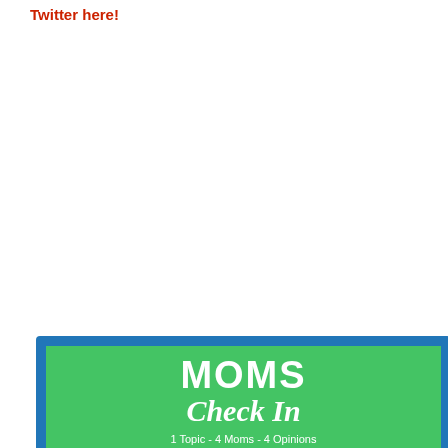Twitter here!
[Figure (infographic): Moms Check In promotional image with green banner showing 'MOMS Check In 1 Topic - 4 Moms - 4 Opinions #MomsCheckIn' and four photos of women below, framed in a blue border.]